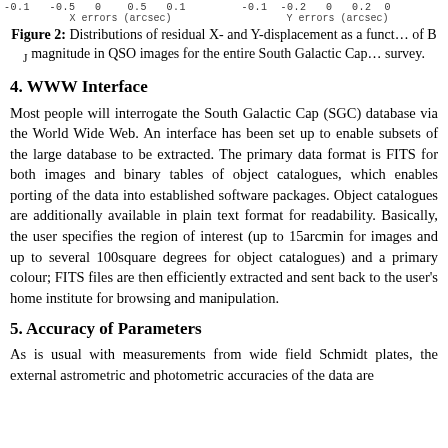Figure 2: Distributions of residual X- and Y-displacement as a function of B_J magnitude in QSO images for the entire South Galactic Cap survey.
4. WWW Interface
Most people will interrogate the South Galactic Cap (SGC) database via the World Wide Web. An interface has been set up to enable subsets of the large database to be extracted. The primary data format is FITS for both images and binary tables of object catalogues, which enables porting of the data into established software packages. Object catalogues are additionally available in plain text format for readability. Basically, the user specifies the region of interest (up to 15arcmin for images and up to several 100square degrees for object catalogues) and a primary colour; FITS files are then efficiently extracted and sent back to the user's home institute for browsing and manipulation.
5. Accuracy of Parameters
As is usual with measurements from wide field Schmidt plates, the external astrometric and photometric accuracies of the data are